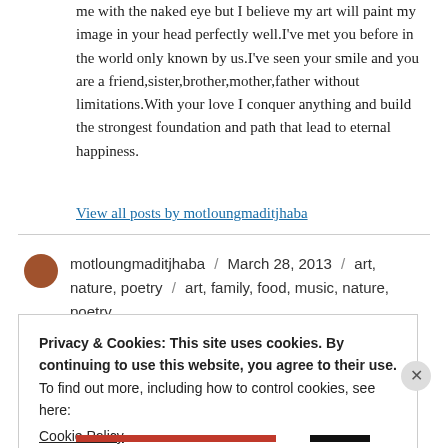me with the naked eye but I believe my art will paint my image in your head perfectly well.I've met you before in the world only known by us.I've seen your smile and you are a friend,sister,brother,mother,father without limitations.With your love I conquer anything and build the strongest foundation and path that lead to eternal happiness.
View all posts by motloungmaditjhaba
motloungmaditjhaba / March 28, 2013 / art, nature, poetry / art, family, food, music, nature, poetry
Privacy & Cookies: This site uses cookies. By continuing to use this website, you agree to their use.
To find out more, including how to control cookies, see here:
Cookie Policy
Close and accept